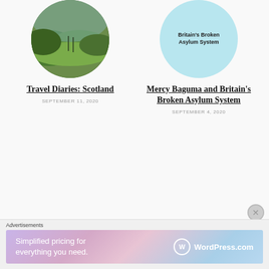[Figure (photo): Circular cropped photo showing green Scottish hills/landscape, partially visible at top]
Travel Diaries: Scotland
SEPTEMBER 11, 2020
[Figure (illustration): Circular light blue image with bold text reading "Britain's Broken Asylum System"]
Mercy Baguma and Britain's Broken Asylum System
SEPTEMBER 4, 2020
Advertisements
[Figure (screenshot): WordPress.com advertisement banner with gradient background (purple to blue) showing text "Simplified pricing for everything you need." and WordPress.com logo]